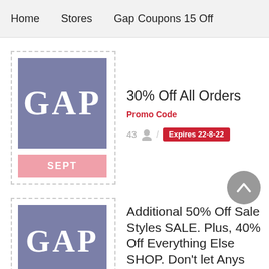Home   Stores   Gap Coupons 15 Off
[Figure (logo): GAP logo in dusty blue/purple square with white serif letters GAP]
SEPT
30% Off All Orders
Promo Code
43 / Expires 22-8-22
[Figure (logo): GAP logo in dusty blue/purple square with white serif letters GAP (second coupon)]
Additional 50% Off Sale Styles SALE. Plus, 40% Off Everything Else SHOP. Don't let Anys Fob Off